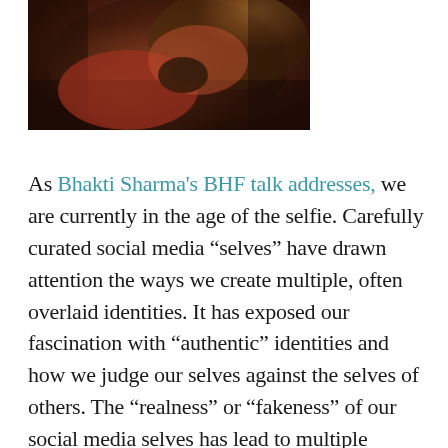[Figure (photo): Partial view of a figure in historical/classical painting style, showing warm reddish-brown tones with fabric and what appears to be a hand or scroll element]
As Bhakti Sharma's BHF talk addresses, we are currently in the age of the selfie. Carefully curated social media “selves” have drawn attention the ways we create multiple, often overlaid identities. It has exposed our fascination with “authentic” identities and how we judge our selves against the selves of others. The “realness” or “fakeness” of our social media selves has lead to multiple studies on happiness, the psychology of social media, and what social media trends say about our society. The